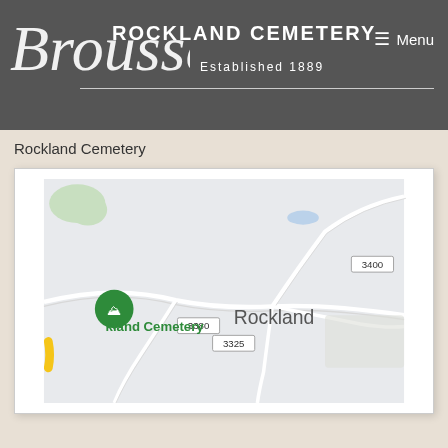Broussards — ROCKLAND CEMETERY | Menu | Established 1889
Rockland Cemetery
[Figure (map): Google Maps view showing Rockland area with a green map pin labeled 'kland Cemetery' (Rockland Cemetery), road labels 3380, 3325, 3400, and the town label 'Rockland'. Roads shown as light grey lines on a light grey map background with green park area in upper left and blue water features.]